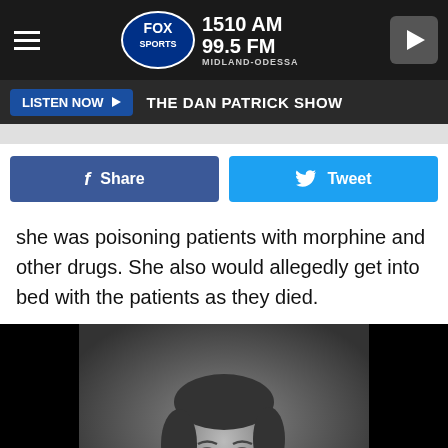[Figure (screenshot): Fox Sports 1510 AM 99.5 FM Midland-Odessa header logo with hamburger menu and play button]
LISTEN NOW ▶  THE DAN PATRICK SHOW
[Figure (screenshot): Social sharing buttons: Facebook Share and Twitter Tweet]
she was poisoning patients with morphine and other drugs. She also would allegedly get into bed with the patients as they died.
[Figure (photo): Black and white portrait photograph of a woman with short dark hair, looking slightly to the side, wearing a dark outfit with white collar]